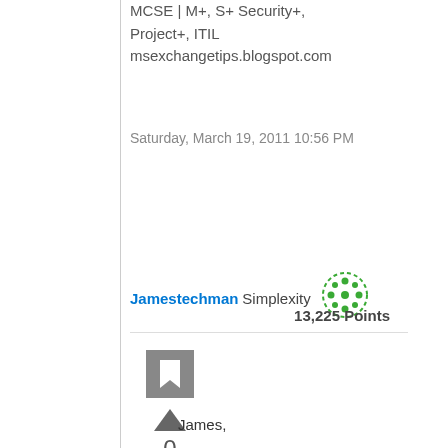MCSE | M+, S+ Security+, Project+, ITIL
msexchangetips.blogspot.com
Saturday, March 19, 2011 10:56 PM
Jamestechman Simplexity
13,225 Points
0
Sign in
to vote
James,